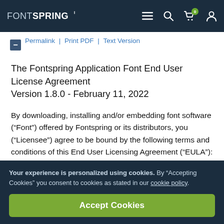FONTSPRING — navigation bar with menu, search, cart (0), and user icons
Permalink | Print PDF | Text Version
The Fontspring Application Font End User License Agreement
Version 1.8.0 - February 11, 2022
By downloading, installing and/or embedding font software (“Font”) offered by Fontspring or its distributors, you (“Licensee”) agree to be bound by the following terms and conditions of this End User Licensing Agreement (“EULA”):
Your experience is personalized using cookies. By “Accepting Cookies” you consent to cookies as stated in our cookie policy.
Accept Cookies